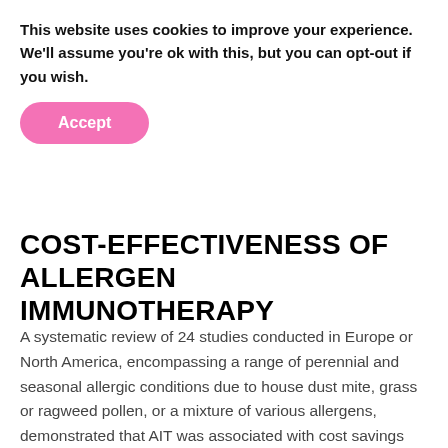This website uses cookies to improve your experience. We'll assume you're ok with this, but you can opt-out if you wish.
Accept
COST-EFFECTIVENESS OF ALLERGEN IMMUNOTHERAPY
A systematic review of 24 studies conducted in Europe or North America, encompassing a range of perennial and seasonal allergic conditions due to house dust mite, grass or ragweed pollen, or a mixture of various allergens, demonstrated that AIT was associated with cost savings relative to symptomatic treatment.26 Of the 6 studies that compared SLIT with SCIT, 4 found cost savings for SLIT